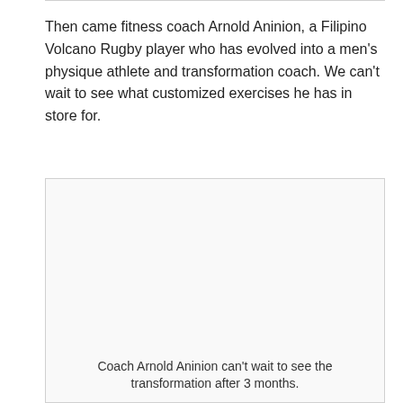Then came fitness coach Arnold Aninion, a Filipino Volcano Rugby player who has evolved into a men's physique athlete and transformation coach. We can't wait to see what customized exercises he has in store for.
[Figure (photo): A photo placeholder box showing Coach Arnold Aninion]
Coach Arnold Aninion can't wait to see the transformation after 3 months.